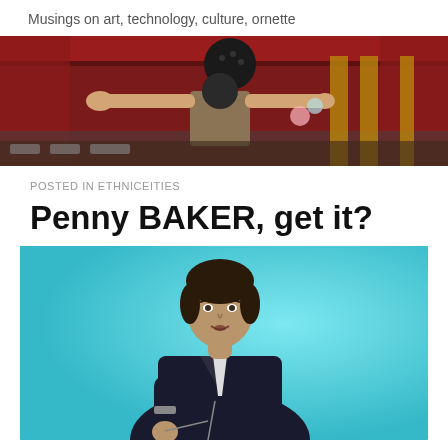Musings on art, technology, culture, ornette
[Figure (photo): A person in a bowling alley with arms outstretched, a bowling ball visible above, red curtains/decor in background]
POSTED IN ETHNICEITIES
Penny BAKER, get it?
[Figure (photo): A young person singing or performing in front of a cyan/teal blue background, wearing a dark jacket, holding a microphone stand]